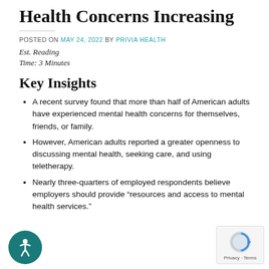Health Concerns Increasing
POSTED ON MAY 24, 2022 BY PRIVIA HEALTH
Est. Reading Time: 3 Minutes
Key Insights
A recent survey found that more than half of American adults have experienced mental health concerns for themselves, friends, or family.
However, American adults reported a greater openness to discussing mental health, seeking care, and using teletherapy.
Nearly three-quarters of employed respondents believe employers should provide “resources and access to mental health services.”